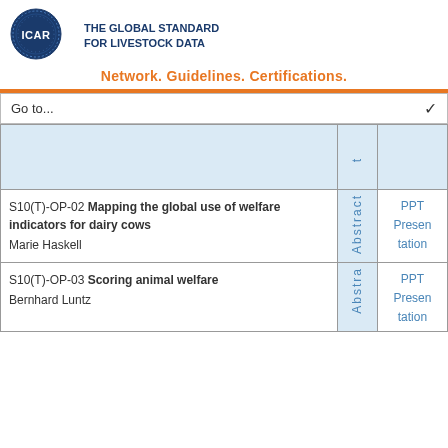[Figure (logo): ICAR logo - blue circular emblem with ICAR text]
THE GLOBAL STANDARD FOR LIVESTOCK DATA
Network. Guidelines. Certifications.
Go to...
|  | Abstract | PPT |
| --- | --- | --- |
|  |  |  |
| S10(T)-OP-02 Mapping the global use of welfare indicators for dairy cows
Marie Haskell | Abstract | PPT Presentation |
| S10(T)-OP-03 Scoring animal welfare
Bernhard Luntz | Abstract | PPT Presentation |